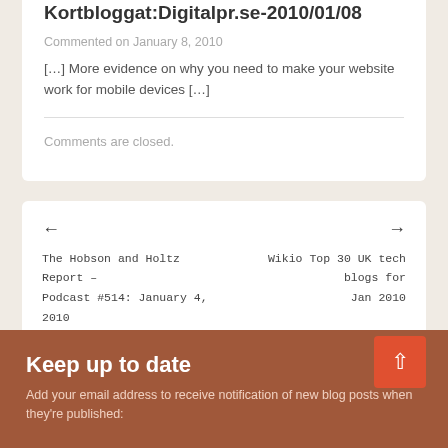Kortbloggat:Digitalpr.se-2010/01/08
Commented on January 8, 2010
[…] More evidence on why you need to make your website work for mobile devices […]
Comments are closed.
← The Hobson and Holtz Report – Podcast #514: January 4, 2010
Wikio Top 30 UK tech blogs for Jan 2010 →
Keep up to date
Add your email address to receive notification of new blog posts when they're published: